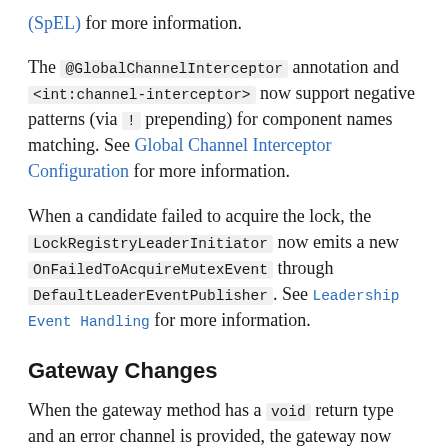(SpEL) for more information.
The @GlobalChannelInterceptor annotation and <int:channel-interceptor> now support negative patterns (via ! prepending) for component names matching. See Global Channel Interceptor Configuration for more information.
When a candidate failed to acquire the lock, the LockRegistryLeaderInitiator now emits a new OnFailedToAcquireMutexEvent through DefaultLeaderEventPublisher. See Leadership Event Handling for more information.
Gateway Changes
When the gateway method has a void return type and an error channel is provided, the gateway now correctly